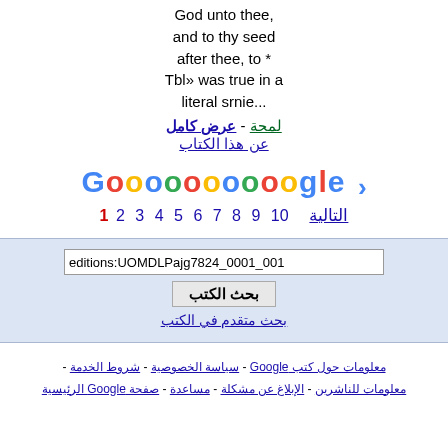God unto thee, and to thy seed after thee, to * Тbl» was true in a literal srnie...
عرض كامل - لمحة - عن هذا الكتاب
[Figure (other): Google pagination bar with colored logo letters and page numbers 1-10 with next arrow, Arabic navigation text التالية]
editions:UOMDLPajg7824_0001_001 بحث الكتب بحث متقدم في الكتب
معلومات حول كتب Google - سياسة الخصوصية - شروط الخدمة - معلومات للناشرين - الإبلاغ عن مشكلة - مساعدة - صفحة Google الرئيسية